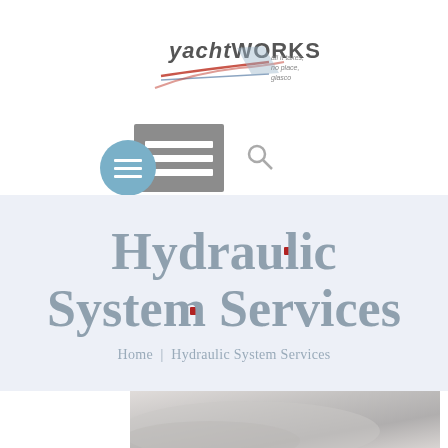[Figure (logo): yachtWORKS logo with red and blue swoosh lines and small text reading 'all it takes, no place, glasco']
[Figure (screenshot): Navigation UI: grey hamburger menu rectangle, search icon, and blue circular menu button]
Hydraulic System Services
Home | Hydraulic System Services
[Figure (photo): Partial photo of what appears to be a white curved surface, likely a yacht hull or equipment]